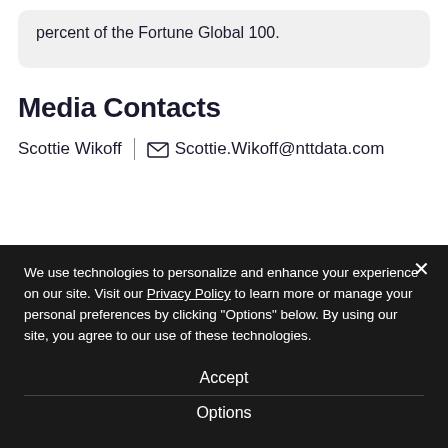percent of the Fortune Global 100.
Media Contacts
Scottie Wikoff | Scottie.Wikoff@nttdata.com
We use technologies to personalize and enhance your experience on our site. Visit our Privacy Policy to learn more or manage your personal preferences by clicking "Options" below. By using our site, you agree to our use of these technologies.
Accept
Options